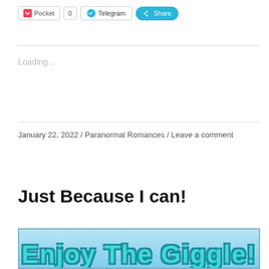[Figure (screenshot): Share buttons row showing Pocket (with count 0), Telegram, and Share buttons]
Loading...
January 22, 2022 / Paranormal Romances / Leave a comment
Just Because I can!
[Figure (illustration): Light blue background image with stylized teal bubble text reading 'Enjoy The Giggle!' in cartoon lettering with dark outlines]